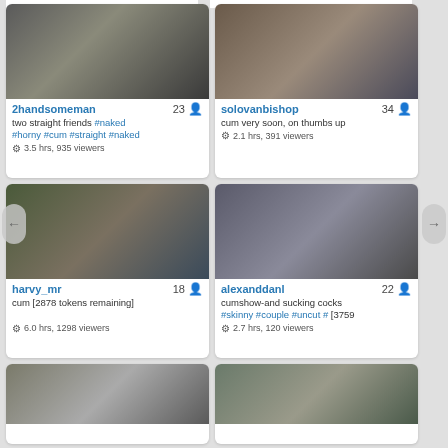[Figure (screenshot): Webcam thumbnail showing two people]
2handsomeman 23
two straight friends #naked #horny #cum #straight #naked
3.5 hrs, 935 viewers
[Figure (screenshot): Webcam thumbnail showing one person]
solovanbishop 34
cum very soon, on thumbs up
2.1 hrs, 391 viewers
[Figure (screenshot): Webcam thumbnail showing three people]
harvy_mr 18
cum [2878 tokens remaining]
6.0 hrs, 1298 viewers
[Figure (screenshot): Webcam thumbnail showing two people with ONLYFANS watermark]
alexanddanl 22
cumshow-and sucking cocks #skinny #couple #uncut # [3759
2.7 hrs, 120 viewers
[Figure (screenshot): Partial webcam thumbnail bottom left]
[Figure (screenshot): Partial webcam thumbnail bottom right]